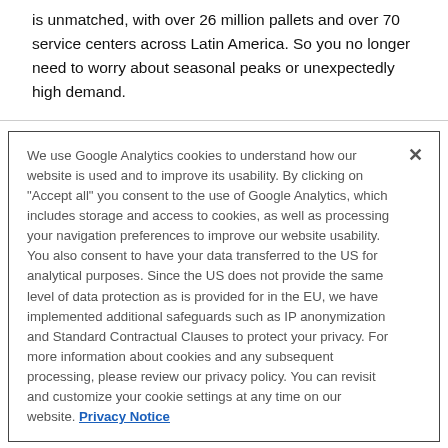is unmatched, with over 26 million pallets and over 70 service centers across Latin America. So you no longer need to worry about seasonal peaks or unexpectedly high demand.
We use Google Analytics cookies to understand how our website is used and to improve its usability. By clicking on "Accept all" you consent to the use of Google Analytics, which includes storage and access to cookies, as well as processing your navigation preferences to improve our website usability. You also consent to have your data transferred to the US for analytical purposes. Since the US does not provide the same level of data protection as is provided for in the EU, we have implemented additional safeguards such as IP anonymization and Standard Contractual Clauses to protect your privacy. For more information about cookies and any subsequent processing, please review our privacy policy. You can revisit and customize your cookie settings at any time on our website. Privacy Notice